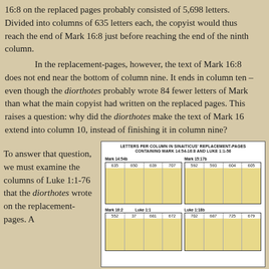16:8 on the replaced pages probably consisted of 5,698 letters. Divided into columns of 635 letters each, the copyist would thus reach the end of Mark 16:8 just before reaching the end of the ninth column.
In the replacement-pages, however, the text of Mark 16:8 does not end near the bottom of column nine. It ends in column ten – even though the diorthotes probably wrote 84 fewer letters of Mark than what the main copyist had written on the replaced pages. This raises a question: why did the diorthotes make the text of Mark 16 extend into column 10, instead of finishing it in column nine?
To answer that question, we must examine the columns of Luke 1:1-76 that the diorthotes wrote on the replacement-pages. A
[Figure (bar-chart): LETTERS PER COLUMN IN SINAITICUS' REPLACEMENT-PAGES CONTAINING MARK 14:54-16:8 AND LUKE 1:1-56]